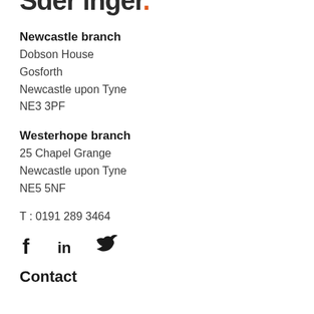[Figure (logo): Partial logo text ending with letters and an orange dot, appears to be a company name ending in 'ger.']
Newcastle branch
Dobson House
Gosforth
Newcastle upon Tyne
NE3 3PF
Westerhope branch
25 Chapel Grange
Newcastle upon Tyne
NE5 5NF
T : 0191 289 3464
[Figure (illustration): Social media icons: Facebook (f), LinkedIn (in), Twitter (bird icon)]
Contact